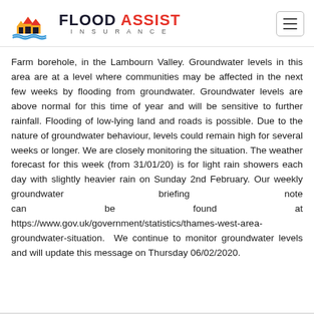FLOOD ASSIST INSURANCE
Farm borehole, in the Lambourn Valley. Groundwater levels in this area are at a level where communities may be affected in the next few weeks by flooding from groundwater. Groundwater levels are above normal for this time of year and will be sensitive to further rainfall. Flooding of low-lying land and roads is possible. Due to the nature of groundwater behaviour, levels could remain high for several weeks or longer. We are closely monitoring the situation. The weather forecast for this week (from 31/01/20) is for light rain showers each day with slightly heavier rain on Sunday 2nd February. Our weekly groundwater briefing note can be found at https://www.gov.uk/government/statistics/thames-west-area-groundwater-situation. We continue to monitor groundwater levels and will update this message on Thursday 06/02/2020.